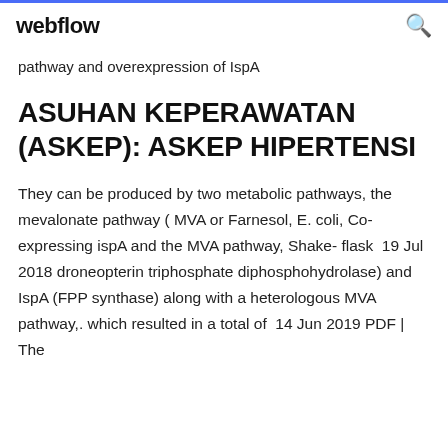webflow
pathway and overexpression of IspA
ASUHAN KEPERAWATAN (ASKEP): ASKEP HIPERTENSI
They can be produced by two metabolic pathways, the mevalonate pathway ( MVA or Farnesol, E. coli, Co-expressing ispA and the MVA pathway, Shake- flask  19 Jul 2018 droneopterin triphosphate diphosphohydrolase) and IspA (FPP synthase) along with a heterologous MVA pathway,. which resulted in a total of  14 Jun 2019 PDF | The